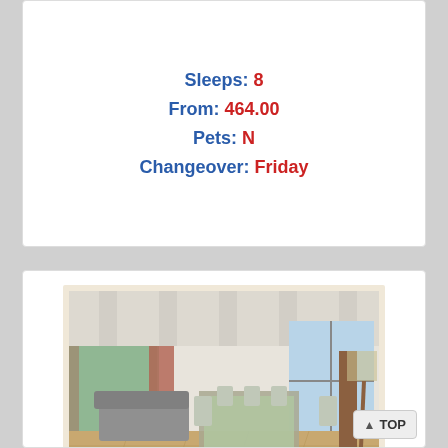Sleeps: 8
From: 464.00
Pets: N
Changeover: Friday
[Figure (photo): Interior photo of a cottage dining and living room with beamed ceiling, large windows, hardwood floors, dining table set with chairs, and grey sofa.]
Penmorfa
Dinas Cross - 4.2 miles from Nevern, St Bry... Church & Cross